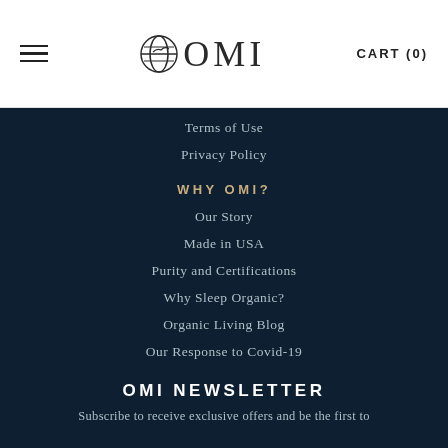OMI — CART (0)
Terms of Use
Privacy Policy
WHY OMI?
Our Story
Made in USA
Purity and Certifications
Why Sleep Organic?
Organic Living Blog
Our Response to Covid-19
OMI NEWSLETTER
Subscribe to receive exclusive offers and be the first to